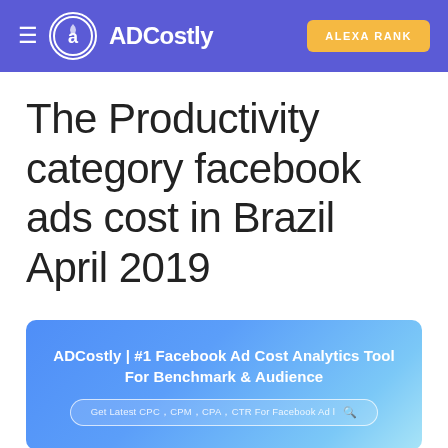≡  ADCostly   ALEXA RANK
The Productivity category facebook ads cost in Brazil April 2019
[Figure (screenshot): ADCostly banner advertisement: '#1 Facebook Ad Cost Analytics Tool For Benchmark & Audience' with a search bar placeholder 'Get Latest CPC, CPM, CPA, CTR For Facebook Ad 1' and a search icon, on a blue gradient background.]
The "Productivity" is a common category in